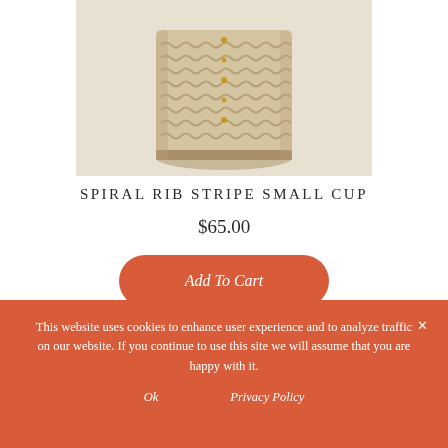[Figure (photo): Close-up photo of a small cup with knitted/woven texture, cream/beige color with decorative bead detail, on a white background]
SPIRAL RIB STRIPE SMALL CUP
$65.00
Add To Cart
This website uses cookies to enhance user experience and to analyze traffic on our website. If you continue to use this site we will assume that you are happy with it.
Ok   Privacy Policy